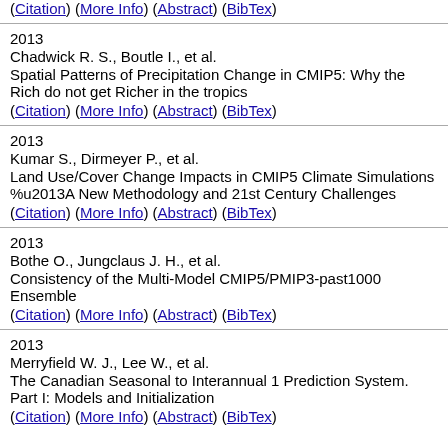(Citation) (More Info) (Abstract) (BibTex)
2013
Chadwick R. S., Boutle I., et al.
Spatial Patterns of Precipitation Change in CMIP5: Why the Rich do not get Richer in the tropics
(Citation) (More Info) (Abstract) (BibTex)
2013
Kumar S., Dirmeyer P., et al.
Land Use/Cover Change Impacts in CMIP5 Climate Simulations %u2013A New Methodology and 21st Century Challenges
(Citation) (More Info) (Abstract) (BibTex)
2013
Bothe O., Jungclaus J. H., et al.
Consistency of the Multi-Model CMIP5/PMIP3-past1000 Ensemble
(Citation) (More Info) (Abstract) (BibTex)
2013
Merryfield W. J., Lee W., et al.
The Canadian Seasonal to Interannual 1 Prediction System. Part I: Models and Initialization
(Citation) (More Info) (Abstract) (BibTex)